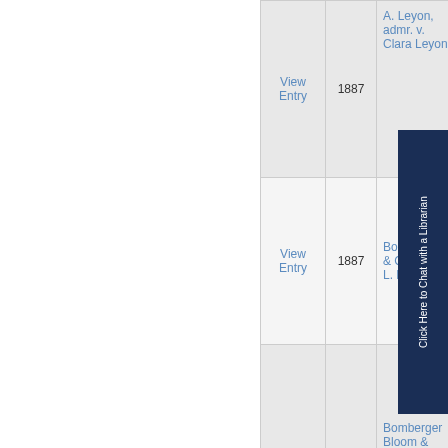|  | Year | Case Name |  |
| --- | --- | --- | --- |
| View Entry | 1887 | A. Leyon, admr. v. Clara Leyon |  |
| View Entry | 1887 | Bohn Br... & Co. v. L. Kendr... |  |
| View Entry | 1887 | Bomberger Bloom & Co. v. Perry Primm, et al... |  |